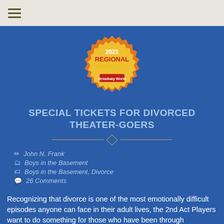≡
[Figure (illustration): 2021 Regional Awards gold badge/seal with 'REGIONAL AWARDS' text and a small logo at the bottom]
SPECIAL TICKETS FOR DIVORCED THEATER-GOERS
✏ John N. Frank
🗂 Boys in the Basement
🏷 Boys in the Basement, Divorce
💬 26 Comments
Recognizing that divorce is one of the most emotionally difficult episodes anyone can face in their adult lives, the 2nd Act Players want to do something for those who have been through...